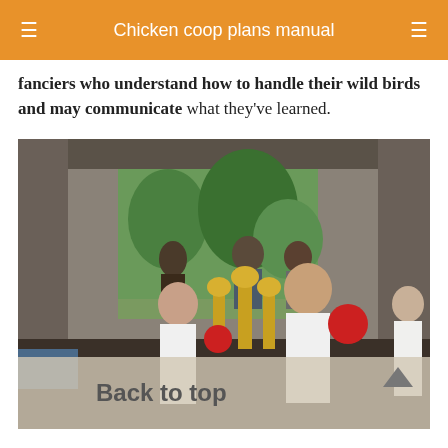Chicken coop plans manual
fanciers who understand how to handle their wild birds and may communicate what they've learned.
[Figure (photo): Two children in white lab coats holding trophies inside a barn/agricultural show building. A semi-transparent 'Back to top' overlay with an upward arrow appears at the bottom of the image.]